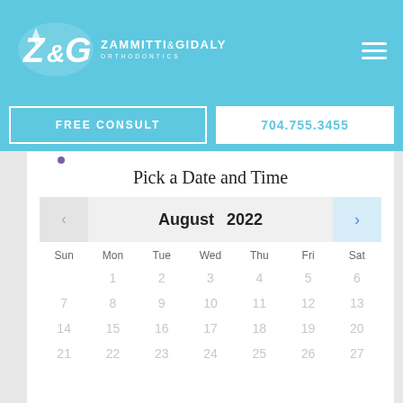Zammitti & Gidaly Orthodontics — header with logo and navigation
FREE CONSULT
704.755.3455
Pick a Date and Time
[Figure (screenshot): Calendar widget showing August 2022. Navigation arrows on left and right. Days of week: Sun Mon Tue Wed Thu Fri Sat. Date rows: 1-6, 7-13, 14-20, 21-27, all greyed out/inactive.]